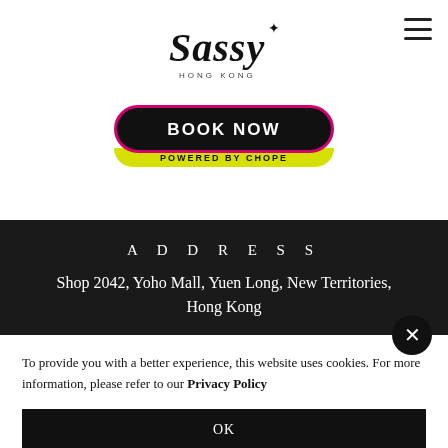[Figure (logo): Sassy Hong Kong logo in cursive script]
[Figure (other): BOOK NOW button with POWERED BY CHOPE label, black rounded rectangle with yellow-green banner]
ADDRESS
Shop 2042, Yoho Mall, Yuen Long, New Territories, Hong Kong
To provide you with a better experience, this website uses cookies. For more information, please refer to our Privacy Policy
OK